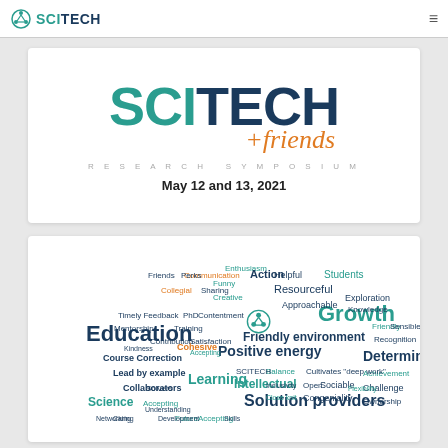SCITECH (logo and navigation bar)
[Figure (logo): SCITECH + friends Research Symposium logo with large teal SCI and dark navy TECH text, italic orange +friends, and subtitle RESEARCH SYMPOSIUM]
May 12 and 13, 2021
[Figure (infographic): Word cloud featuring terms related to SciTech community values including: Education, Learning, Science, Growth, Friendly environment, Positive energy, Solution providers, Intellectual, Determination, Resourceful, Action, Cohesive, Collaborators, Communication, Mentorship, PhD, Timely Feedback, Course Correction, Lead by example, Sharing, Collegial, Friends, Perks, Students, Helpful, Approachable, Funny, Creative, Enthusiasm, Exploration, Knowledge, Sensible policies, Recognition, Achievement, Challenge, Ownership, Congeniality, Sociable, Open, Cultivates deep work, Inclusivity, Close knit, Accepting, Balance, Future, Development, Caring, Networking, Skills, Kindness, Flexibility]